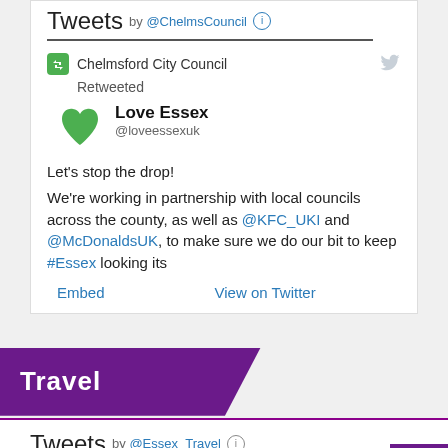Tweets by @ChelmsCouncil
Chelmsford City Council Retweeted
Love Essex @loveessexuk
Let's stop the drop!

We're working in partnership with local councils across the county, as well as @KFC_UKI and @McDonaldsUK, to make sure we do our bit to keep #Essex looking its
Embed   View on Twitter
Travel
Tweets by @Essex_Travel